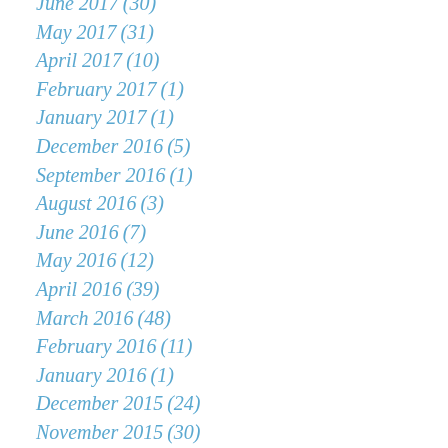June 2017 (30)
May 2017 (31)
April 2017 (10)
February 2017 (1)
January 2017 (1)
December 2016 (5)
September 2016 (1)
August 2016 (3)
June 2016 (7)
May 2016 (12)
April 2016 (39)
March 2016 (48)
February 2016 (11)
January 2016 (1)
December 2015 (24)
November 2015 (30)
October 2015 (31)
September 2015 (30)
August 2015 (32)
July 2015 (31)